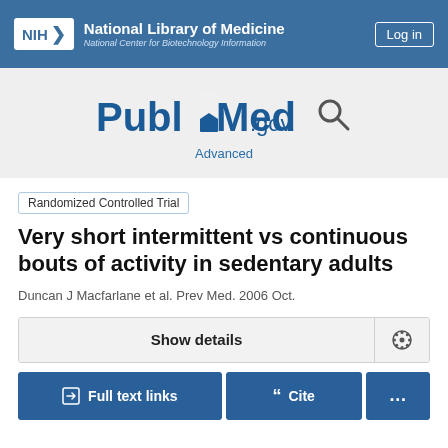NIH National Library of Medicine National Center for Biotechnology Information
[Figure (logo): PubMed.gov logo with search icon and Advanced link]
Randomized Controlled Trial
Very short intermittent vs continuous bouts of activity in sedentary adults
Duncan J Macfarlane et al. Prev Med. 2006 Oct.
Show details
Full text links  Cite  ...